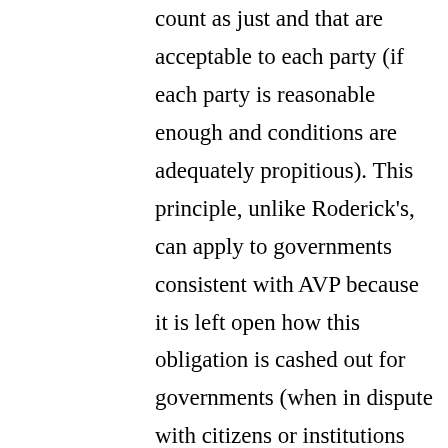count as just and that are acceptable to each party (if each party is reasonable enough and conditions are adequately propitious). This principle, unlike Roderick's, can apply to governments consistent with AVP because it is left open how this obligation is cashed out for governments (when in dispute with citizens or institutions within its jurisdiction, other non-competing-jurisdiction governments, competing-jurisdiction governments, etc.). If this is right,